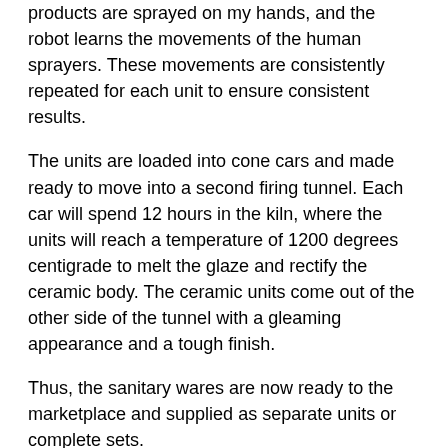products are sprayed on my hands, and the robot learns the movements of the human sprayers. These movements are consistently repeated for each unit to ensure consistent results.
The units are loaded into cone cars and made ready to move into a second firing tunnel. Each car will spend 12 hours in the kiln, where the units will reach a temperature of 1200 degrees centigrade to melt the glaze and rectify the ceramic body. The ceramic units come out of the other side of the tunnel with a gleaming appearance and a tough finish.
Thus, the sanitary wares are now ready to the marketplace and supplied as separate units or complete sets.
Conclusion